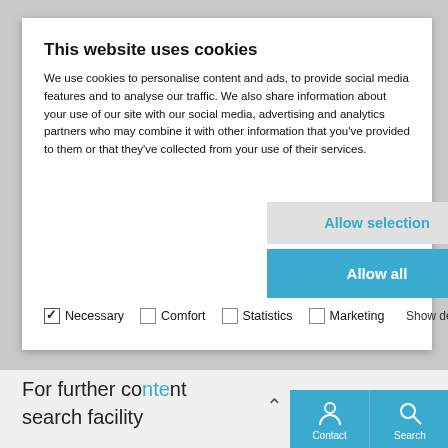This website uses cookies
We use cookies to personalise content and ads, to provide social media features and to analyse our traffic. We also share information about your use of our site with our social media, advertising and analytics partners who may combine it with other information that you've provided to them or that they've collected from your use of their services.
Allow selection
Allow all
✓ Necessary  ☐ Comfort  ☐ Statistics  ☐ Marketing  Show details
For further co... search facility...
Contact  Search  Catalogues  Shop